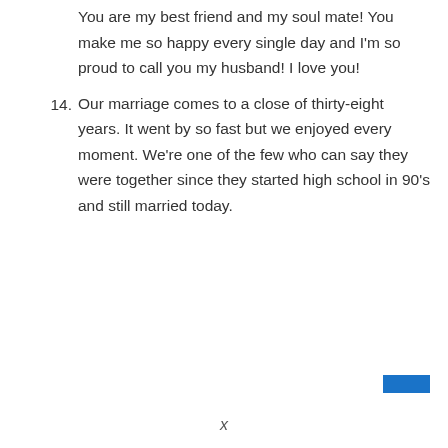You are my best friend and my soul mate! You make me so happy every single day and I'm so proud to call you my husband! I love you!
14. Our marriage comes to a close of thirty-eight years. It went by so fast but we enjoyed every moment. We're one of the few who can say they were together since they started high school in 90's and still married today.